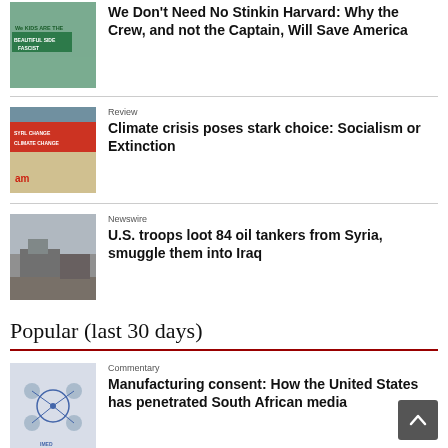[Figure (photo): Protest sign reading 'We Are The Beautiful Side Fascist']
We Don't Need No Stinkin Harvard: Why the Crew, and not the Captain, Will Save America
[Figure (photo): Climate protest with banners about climate change]
Review
Climate crisis poses stark choice: Socialism or Extinction
[Figure (photo): Military tanks or vehicles in Syria]
Newswire
U.S. troops loot 84 oil tankers from Syria, smuggle them into Iraq
Popular (last 30 days)
[Figure (photo): Network diagram showing media connections]
Commentary
Manufacturing consent: How the United States has penetrated South African media